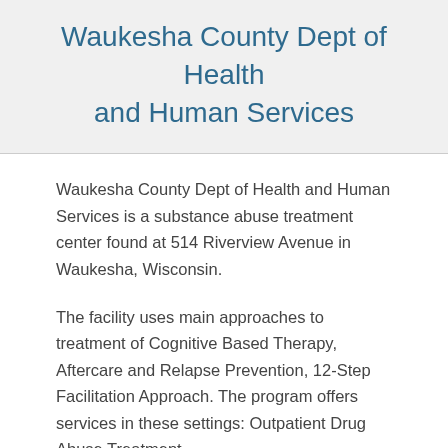Waukesha County Dept of Health and Human Services
Waukesha County Dept of Health and Human Services is a substance abuse treatment center found at 514 Riverview Avenue in Waukesha, Wisconsin.
The facility uses main approaches to treatment of Cognitive Based Therapy, Aftercare and Relapse Prevention, 12-Step Facilitation Approach. The program offers services in these settings: Outpatient Drug Abuse Treatment.
Waukesha County Dept of Health and